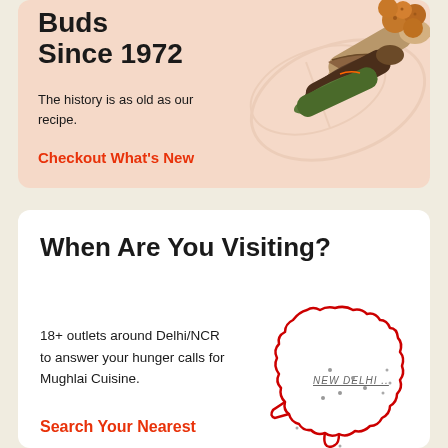Buds Since 1972
The history is as old as our recipe.
Checkout What's New
[Figure (photo): Food items including rolls/wraps and fried snacks on a light peach background]
When Are You Visiting?
18+ outlets around Delhi/NCR to answer your hunger calls for Mughlai Cuisine.
[Figure (map): Outline map of Delhi/NCR region in red with NEW DELHI text label and small dots indicating outlet locations]
Search Your Nearest